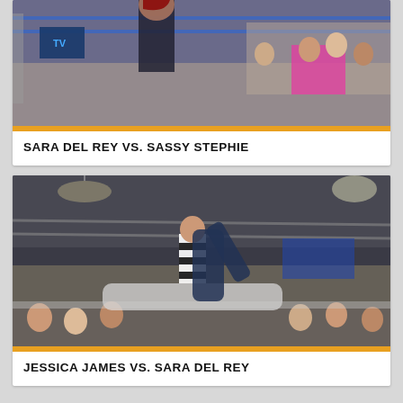[Figure (photo): Wrestling match photo: Sara Del Rey vs Sassy Stephie in a wrestling ring with audience visible in background]
SARA DEL REY VS. SASSY STEPHIE
[Figure (photo): Wrestling match photo: Jessica James vs Sara Del Rey, showing a hold/submission move in the ring with referee watching]
JESSICA JAMES VS. SARA DEL REY